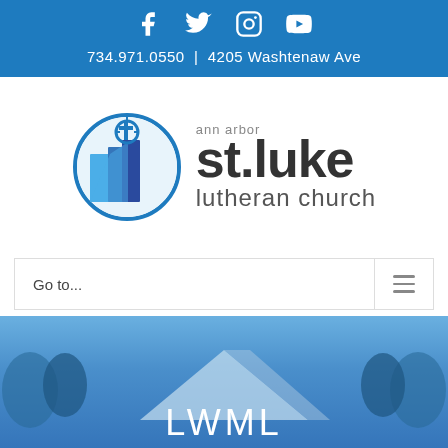Social icons: Facebook, Twitter, Instagram, YouTube | 734.971.0550 | 4205 Washtenaw Ave
[Figure (logo): St. Luke Ann Arbor Lutheran Church logo — circular icon with cross and church building in blue tones, with text 'ann arbor st.luke lutheran church']
Go to...
[Figure (photo): Hero image of church building roof with blue sky and trees, with text 'LWML' overlaid at bottom]